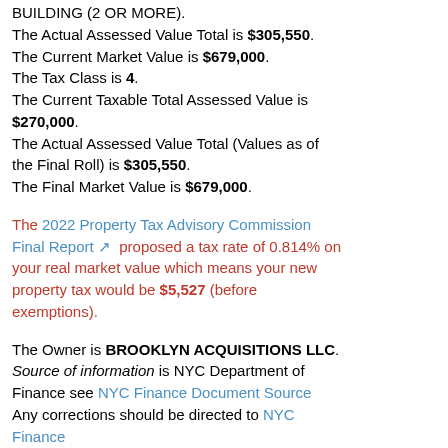BUILDING (2 OR MORE). The Actual Assessed Value Total is $305,550. The Current Market Value is $679,000. The Tax Class is 4. The Current Taxable Total Assessed Value is $270,000. The Actual Assessed Value Total (Values as of the Final Roll) is $305,550. The Final Market Value is $679,000.
The 2022 Property Tax Advisory Commission Final Report proposed a tax rate of 0.814% on your real market value which means your new property tax would be $5,527 (before exemptions).
The Owner is BROOKLYN ACQUISITIONS LLC. Source of information is NYC Department of Finance see NYC Finance Document Source Any corrections should be directed to NYC Finance The highest house number is 54-01. The lowest house number is 54-01. The Street name is 108 STREET. The Zip Code is 11368. The...